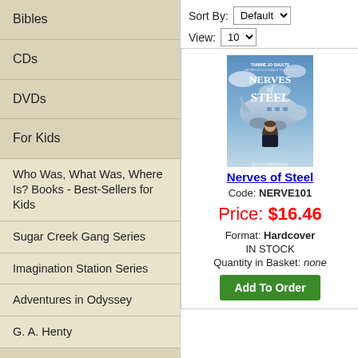Bibles
CDs
DVDs
For Kids
Who Was, What Was, Where Is? Books - Best-Sellers for Kids
Sugar Creek Gang Series
Imagination Station Series
Adventures in Odyssey
G. A. Henty
Sort By: Default  View: 10
[Figure (photo): Book cover of 'Nerves of Steel' by Tammie Jo Shults, Captain of Southwest Flight 1380. Shows a woman pilot in uniform standing in front of a commercial airplane.]
Nerves of Steel
Code: NERVE101
Price: $16.46
Format: Hardcover
IN STOCK
Quantity in Basket: none
Add To Order